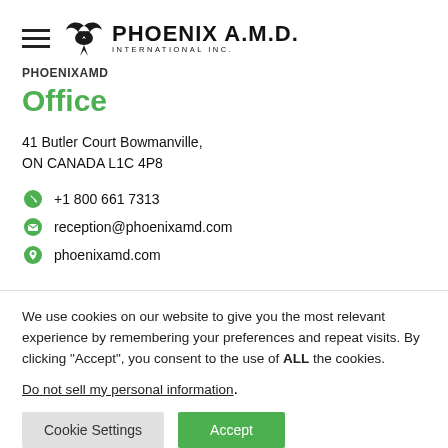[Figure (logo): Phoenix A.M.D. International Inc. logo with phoenix bird icon and hamburger menu icon]
PHOENIXAMD
Office
41 Butler Court Bowmanville,
ON CANADA L1C 4P8
+1 800 661 7313
reception@phoenixamd.com
phoenixamd.com
We use cookies on our website to give you the most relevant experience by remembering your preferences and repeat visits. By clicking “Accept”, you consent to the use of ALL the cookies.
Do not sell my personal information.
Cookie Settings    Accept